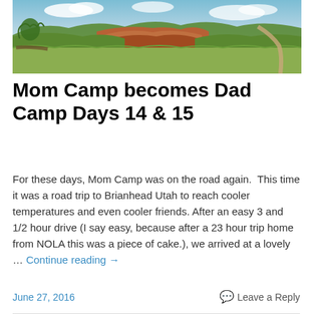[Figure (photo): Panoramic landscape photo showing rolling green hills, red/orange rocky terrain in the background, blue sky with clouds, and a dirt path on the right side.]
Mom Camp becomes Dad Camp Days 14 & 15
For these days, Mom Camp was on the road again.  This time it was a road trip to Brianhead Utah to reach cooler temperatures and even cooler friends. After an easy 3 and 1/2 hour drive (I say easy, because after a 23 hour trip home from NOLA this was a piece of cake.), we arrived at a lovely … Continue reading →
June 27, 2016  Leave a Reply